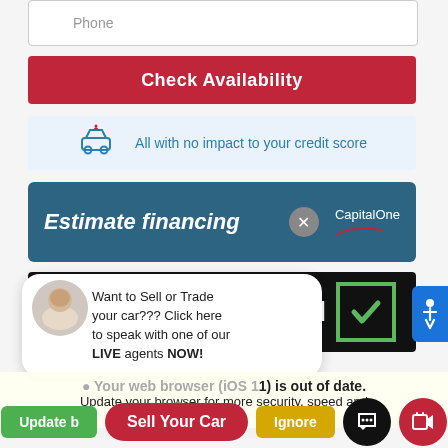Phone
Check Availability
All with no impact to your credit score
Estimate financing
[Figure (screenshot): Capital One logo]
oved (approved checkmark)
Want to Sell or Trade your car??? Click here to speak with one of our LIVE agents NOW!
Enter your message
Your web browser (iOS 11) is out of date.
Update your browser for more security, speed and the best experience on this site.
Update browser
Sell Your Car
Ignore